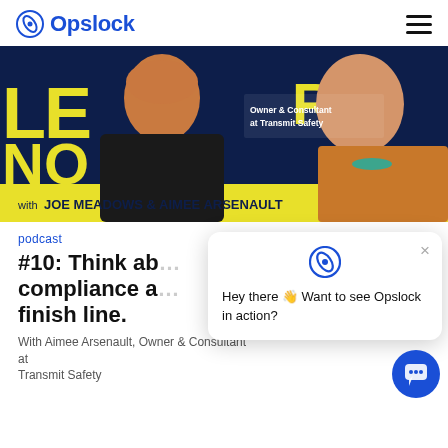Opslock
[Figure (photo): Podcast banner image with two people, showing 'LEADERS NOW with JOE MEADOWS & AIMEE ARSENAULT'. Text overlay reads 'Owner & Consultant at Transmit Safety'. Dark navy background with yellow text accents.]
podcast
#10: Think about compliance as the finish line.
With Aimee Arsenault, Owner & Consultant at Transmit Safety